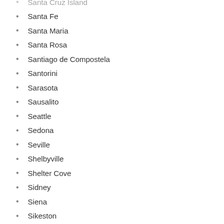Santa Cruz Island
Santa Fe
Santa Maria
Santa Rosa
Santiago de Compostela
Santorini
Sarasota
Sausalito
Seattle
Sedona
Seville
Shelbyville
Shelter Cove
Sidney
Siena
Sikeston
Solana Beach